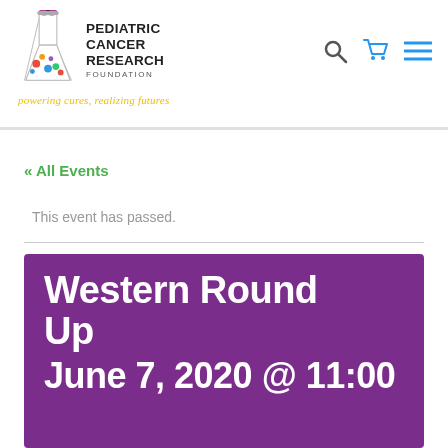[Figure (logo): Pediatric Cancer Research Foundation logo with flask illustration, organization name, and tagline 'powering cures, realizing futures']
« All Events
This event has passed.
Western Round Up
June 7, 2020 @ 11:00